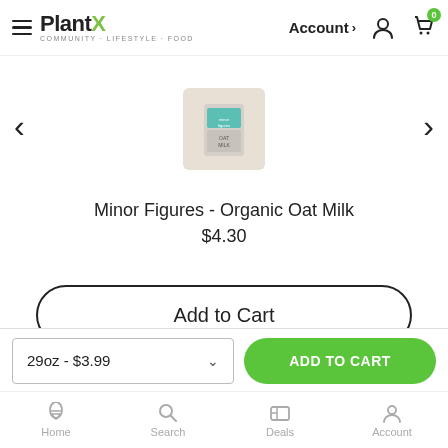[Figure (screenshot): PlantX website/app header with hamburger menu, PlantX logo, Account link with chevron, and shopping cart icon with badge showing 0]
[Figure (photo): Product thumbnail image of Minor Figures Organic Oat Milk carton with teal/blue packaging]
Minor Figures - Organic Oat Milk
$4.30
Add to Cart
29oz - $3.99
ADD TO CART
Home
Search
Deals
Account